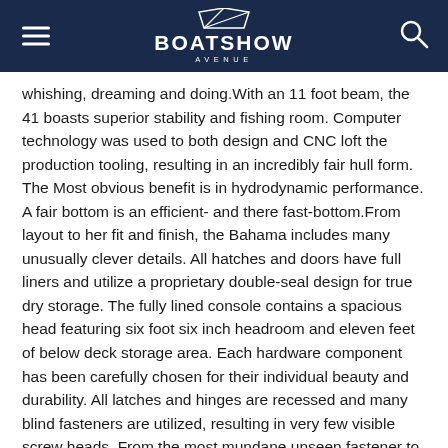BOATSHOW AVENUE
whishing, dreaming and doing.With an 11 foot beam, the 41 boasts superior stability and fishing room. Computer technology was used to both design and CNC loft the production tooling, resulting in an incredibly fair hull form. The Most obvious benefit is in hydrodynamic performance. A fair bottom is an efficient- and there fast-bottom.From layout to her fit and finish, the Bahama includes many unusually clever details. All hatches and doors have full liners and utilize a proprietary double-seal design for true dry storage. The fully lined console contains a spacious head featuring six foot six inch headroom and eleven feet of below deck storage area. Each hardware component has been carefully chosen for their individual beauty and durability. All latches and hinges are recessed and many blind fasteners are utilized, resulting in very few visible screw heads. From the most mundane unseen fastener to the electrical wiring harnesses, every component used is top shelf